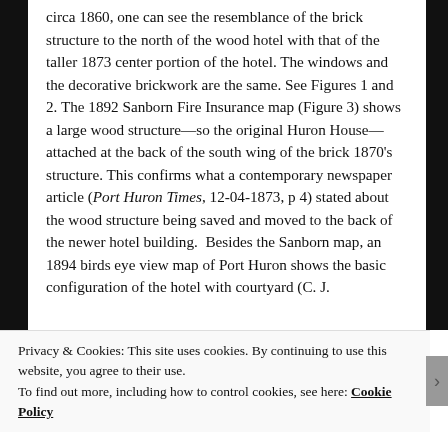circa 1860, one can see the resemblance of the brick structure to the north of the wood hotel with that of the taller 1873 center portion of the hotel. The windows and the decorative brickwork are the same. See Figures 1 and 2. The 1892 Sanborn Fire Insurance map (Figure 3) shows a large wood structure—so the original Huron House—attached at the back of the south wing of the brick 1870's structure. This confirms what a contemporary newspaper article (Port Huron Times, 12-04-1873, p 4) stated about the wood structure being saved and moved to the back of the newer hotel building.  Besides the Sanborn map, an 1894 birds eye view map of Port Huron shows the basic configuration of the hotel with courtyard (C. J.
Privacy & Cookies: This site uses cookies. By continuing to use this website, you agree to their use.
To find out more, including how to control cookies, see here: Cookie Policy
Close and accept